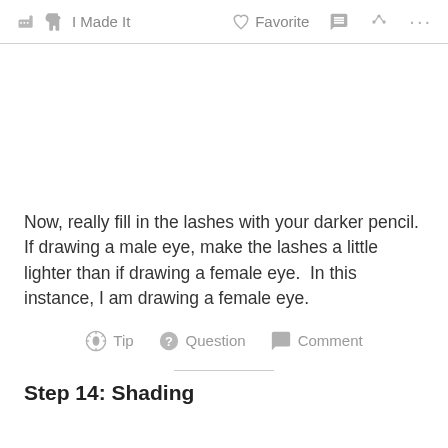✋ I Made It   ♡ Favorite   💬   ⋮⋮
[Figure (photo): Blank white image area placeholder for an eye drawing step photo]
Now, really fill in the lashes with your darker pencil. If drawing a male eye, make the lashes a little lighter than if drawing a female eye.  In this instance, I am drawing a female eye.
💡 Tip   ❓ Question   💬 Comment
Step 14: Shading